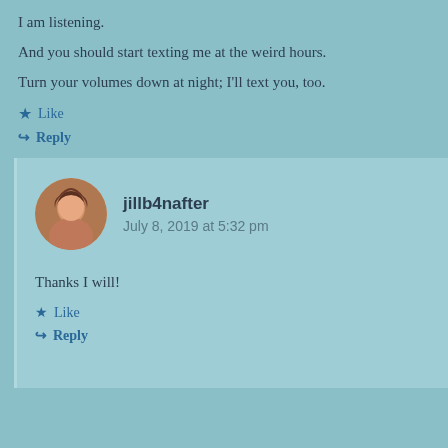I am listening.
And you should start texting me at the weird hours.
Turn your volumes down at night; I'll text you, too.
★ Like
↳ Reply
jillb4nafter
July 8, 2019 at 5:32 pm
Thanks I will!
★ Like
↳ Reply